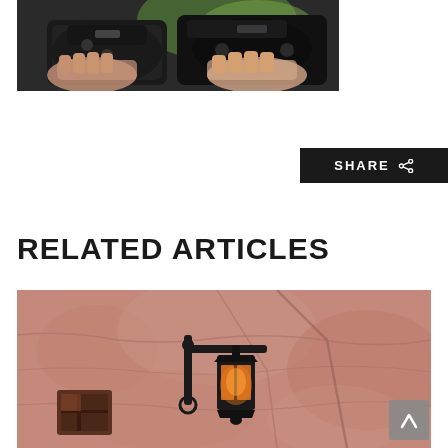[Figure (photo): Two people holding PlayStation game controllers, photographed from behind/side against a blurred colorful background]
[Figure (other): SHARE button with share icon in black background]
RELATED ARTICLES
[Figure (photo): A vintage orange lantern mounted on a dark iron bracket against a warm terracotta/sandstone textured wall with a small window visible]